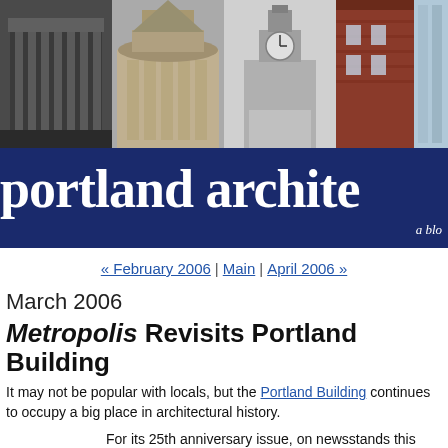[Figure (photo): Header strip of four architectural building photographs: a modern building with columns, a classical ornate building, a clock tower building, and a red brick building with modern glass facade.]
portland architecture (cropped) — a blog
« February 2006 | Main | April 2006 »
March 2006
Metropolis Revisits Portland Building
It may not be popular with locals, but the Portland Building continues to occupy a big place in architectural history.
For its 25th anniversary issue, on newsstands this month, Metropolis magazine devotes a feature article to each year of publication. 1982's entry, on the Portland Building, includes quotes from numerous critics, students and architects a...